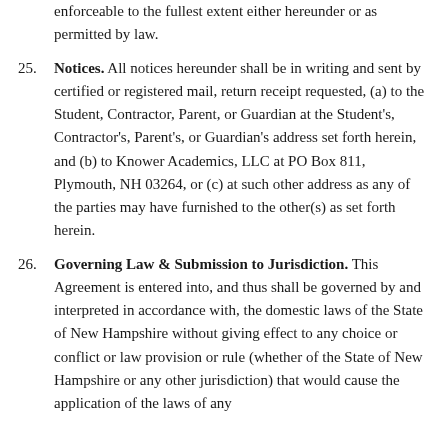enforceable to the fullest extent either hereunder or as permitted by law.
25. Notices. All notices hereunder shall be in writing and sent by certified or registered mail, return receipt requested, (a) to the Student, Contractor, Parent, or Guardian at the Student's, Contractor's, Parent's, or Guardian's address set forth herein, and (b) to Knower Academics, LLC at PO Box 811, Plymouth, NH 03264, or (c) at such other address as any of the parties may have furnished to the other(s) as set forth herein.
26. Governing Law & Submission to Jurisdiction. This Agreement is entered into, and thus shall be governed by and interpreted in accordance with, the domestic laws of the State of New Hampshire without giving effect to any choice or conflict or law provision or rule (whether of the State of New Hampshire or any other jurisdiction) that would cause the application of the laws of any